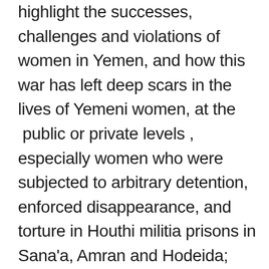highlight the successes, challenges and violations of women in Yemen, and how this war has left deep scars in the lives of Yemeni women, at the  public or private levels , especially women who were subjected to arbitrary detention, enforced disappearance, and torture in Houthi militia prisons in Sana'a, Amran and Hodeida; The organization is seeking to turn the violations suffered by women in Yemen into a global issue that gets international sympathy and to correct the course of the legal struggle against women in the light of the disastrous consequences of the cursed war. "